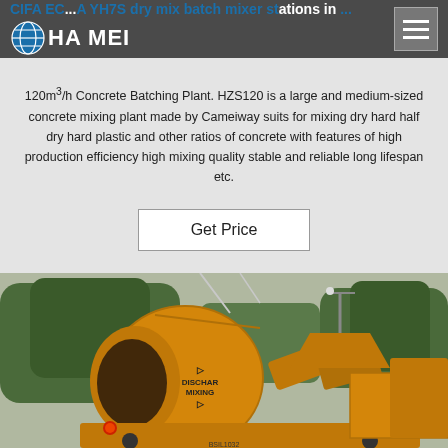CIFA EC...A YH7S  dry mix batch mixer stations in ...
CIFA EC...A YH7S  dry mix batch mixer stations in ...
120m³/h Concrete Batching Plant. HZS120 is a large and medium-sized concrete mixing plant made by Cameiway suits for mixing dry hard half dry hard plastic and other ratios of concrete with features of high production efficiency high mixing quality stable and reliable long lifespan etc.
Get Price
[Figure (photo): Yellow concrete mixer truck (drum mixer) with 'DISCHAR MIXING' label on drum, parked outdoors with trees in background]